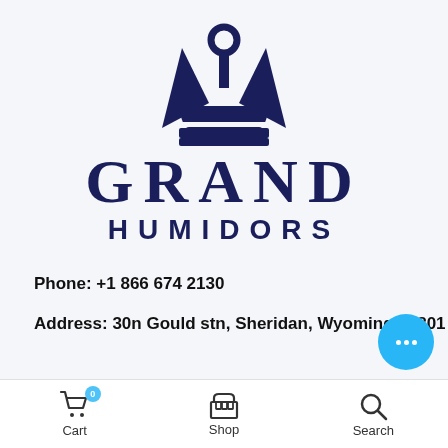[Figure (logo): Grand Humidors crown logo with navy blue crown icon above the text GRAND HUMIDORS]
Phone: +1 866 674 2130
Address: 30n Gould stn, Sheridan, Wyoming 82801
Cart  Shop  Search